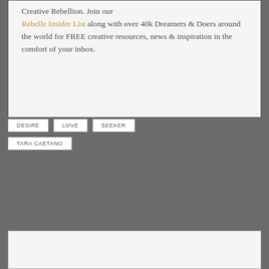Creative Rebellion. Join our Rebelle Insider List along with over 40k Dreamers & Doers around the world for FREE creative resources, news & inspiration in the comfort of your inbox.
DESIRE
LOVE
SEEKER
TARA CAETANO